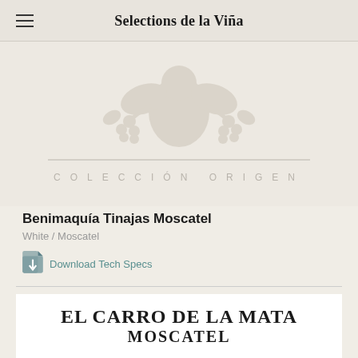Selections de la Viña
[Figure (illustration): Faded decorative illustration of a cherub/Bacchus figure with grape vines, above a horizontal line, with text 'COLECCIÓN ORIGEN' below]
Benimaquía Tinajas Moscatel
White / Moscatel
Download Tech Specs
[Figure (illustration): Wine label card showing 'EL CARRO DE LA MATA' and 'MOSCATEL' in large serif bold text on white background]